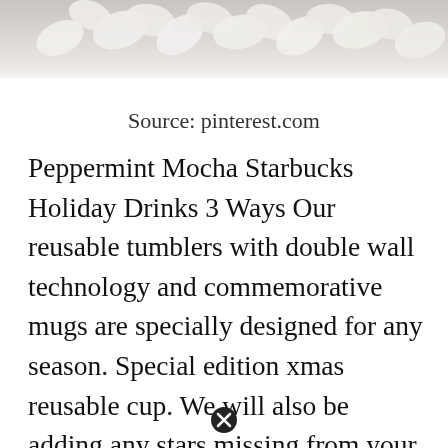[Figure (photo): White floral/petal decorative image strip at the top of the page]
Source: pinterest.com
Peppermint Mocha Starbucks Holiday Drinks 3 Ways Our reusable tumblers with double wall technology and commemorative mugs are specially designed for any season. Special edition xmas reusable cup. We will also be adding any stars missing from your purchases in store since the 23rd september. It includes